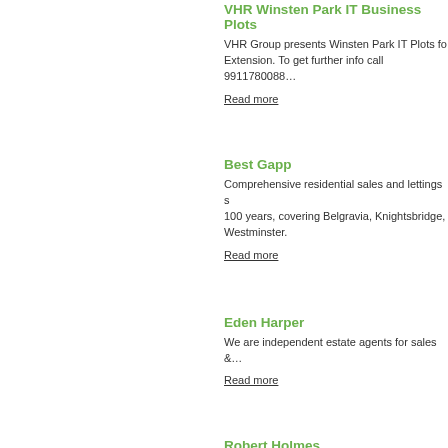VHR Winsten Park IT Business Plots
VHR Group presents Winsten Park IT Plots fo… Extension. To get further info call 9911780088…
Read more
Best Gapp
Comprehensive residential sales and lettings s… 100 years, covering Belgravia, Knightsbridge,… Westminster.
Read more
Eden Harper
We are independent estate agents for sales &…
Read more
Robert Holmes
Robert Holmes Estate Agents specialise in pro… also cover other South West London areas.
Read more